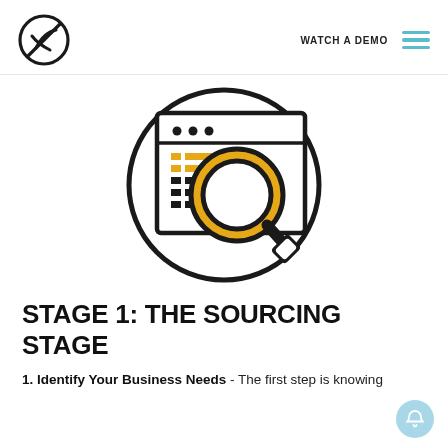WATCH A DEMO
[Figure (illustration): Icon showing a magnifying glass overlaid on a browser/document window, inside a circle. The magnifying glass has a gold/yellow ring and black handle. The document shows horizontal lines and dots indicating a list or interface.]
STAGE 1: THE SOURCING STAGE
1. Identify Your Business Needs - The first step is knowing